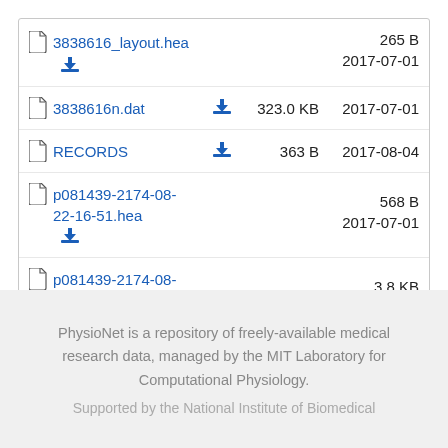| File | Size | Date |
| --- | --- | --- |
| 3838616_layout.hea | 265 B | 2017-07-01 |
| 3838616n.dat | 323.0 KB | 2017-07-01 |
| RECORDS | 363 B | 2017-08-04 |
| p081439-2174-08-22-16-51.hea | 568 B | 2017-07-01 |
| p081439-2174-08-22-16-51n.hea | 3.8 KB | 2017-07-01 |
PhysioNet is a repository of freely-available medical research data, managed by the MIT Laboratory for Computational Physiology.
Supported by the National Institute of Biomedical